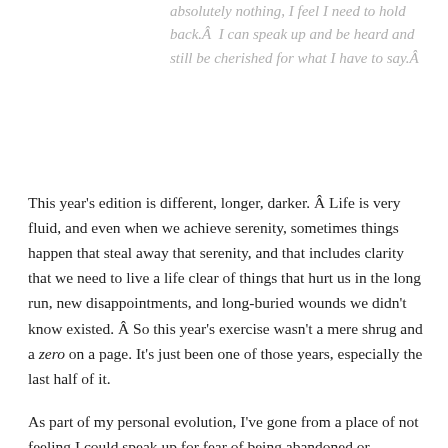absolutely nothing, I feel I need to hold back.Â  I can speak up and be heard and still be cherished for what I have to say.Â
This year's edition is different, longer, darker. Â Life is very fluid, and even when we achieve serenity, sometimes things happen that steal away that serenity, and that includes clarity that we need to live a life clear of things that hurt us in the long run, new disappointments, and long-buried wounds we didn't know existed. Â So this year's exercise wasn't a mere shrug and a zero on a page. It's just been one of those years, especially the last half of it.
As part of my personal evolution, I've gone from a place of not feeling I could speak up for fear of being abandoned or ostracized if I let people know what I truly thought to a place where I'm comfortable with